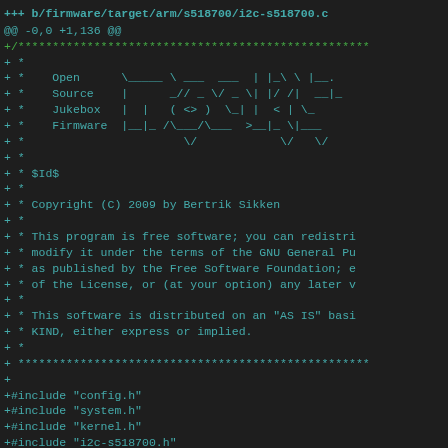+++ b/firmware/target/arm/s518700/i2c-s518700.c
@@ -0,0 +1,136 @@
+/*****...
+ *
+ *    Open       \_____ \ ___  ___ | |_\ \ |_
+ *    Source      |      _// _ \/ __\| |/ /| |
+ *    Jukebox     |  |   ( <> )  \_| |  < | \
+ *    Firmware    |__|_ /\___/\__  >__|_ \|___
+ *                      \/            \/    \/
+ *
+ * $Id$
+ *
+ * Copyright (C) 2009 by Bertrik Sikken
+ *
+ * This program is free software; you can redistri
+ * modify it under the terms of the GNU General Pu
+ * as published by the Free Software Foundation; e
+ * of the License, or (at your option) any later v
+ *
+ * This software is distributed on an "AS IS" basi
+ * KIND, either express or implied.
+ *
+ ****...
+
+#include "config.h"
+#include "system.h"
+#include "kernel.h"
+#include "i2c-s518700.h"
+
+/*  Driver for the s518700 built-in I2C controller
+
+     ...
Diff view of firmware/target/arm/s518700/i2c-s518700.c